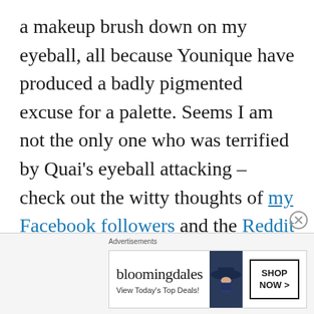a makeup brush down on my eyeball, all because Younique have produced a badly pigmented excuse for a palette. Seems I am not the only one who was terrified by Quai's eyeball attacking – check out the witty thoughts of my Facebook followers and the Reddit community.
The YouTube community aren't impressed either. Here is just a small selection of the feedback in the video's comments section:
[Figure (other): Bloomingdale's advertisement banner with text 'View Today's Top Deals!' and a woman wearing a wide-brim hat, with a 'SHOP NOW >' button]